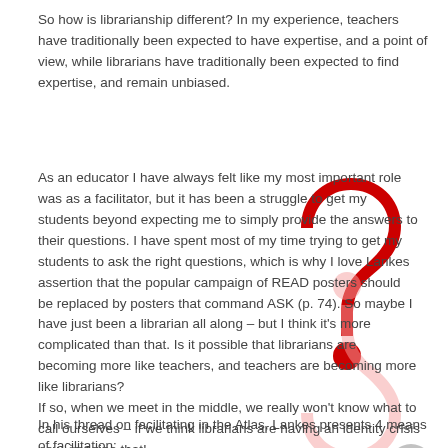So how is librarianship different? In my experience, teachers have traditionally been expected to have expertise, and a point of view, while librarians have traditionally been expected to find expertise, and remain unbiased.
[Figure (illustration): A large red question mark with a red period/dot below it, and faded pink reflections of both shapes beneath them — decorative graphic illustration]
As an educator I have always felt like my most important role was as a facilitator, but it has been a struggle to get my students beyond expecting me to simply provide the answers to their questions. I have spent most of my time trying to get my students to ask the right questions, which is why I love Lankes assertion that the popular campaign of READ posters should be replaced by posters that command ASK (p. 74). So maybe I have just been a librarian all along – but I think it's more complicated than that. Is it possible that librarians are becoming more like teachers, and teachers are becoming more like librarians? If so, when we meet in the middle, we really won't know what to call ourselves – if we think librarians are having an identity crisis now, imagine that!
In his thread on facilitating in the Atlas, Lankes presents 4 means of facilitation: